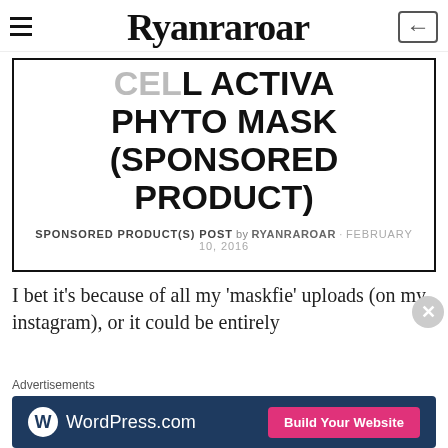Ryanraroar
CELL ACTIVA PHYTO MASK (SPONSORED PRODUCT)
SPONSORED PRODUCT(S) POST by RYANRAROAR · FEBRUARY 10, 2016
I bet it's because of all my 'maskfie' uploads (on my instagram), or it could be entirely
[Figure (screenshot): WordPress.com advertisement banner with logo and 'Build Your Website' button]